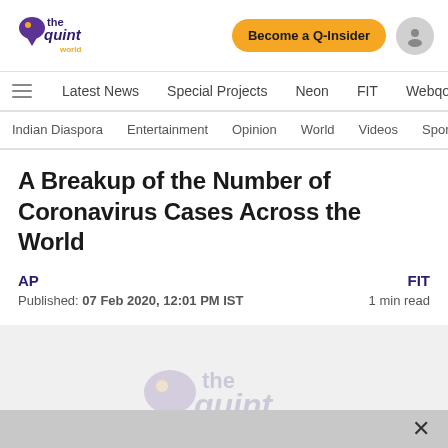the quint world | Become a Q-Insider | user icon
Latest News | Special Projects | Neon | FIT | Webqoof
Indian Diaspora | Entertainment | Opinion | World | Videos | Spor
A Breakup of the Number of Coronavirus Cases Across the World
AP
Published: 07 Feb 2020, 12:01 PM IST
FIT
1 min read
[Figure (logo): The Quint World watermark logo in light grey over image placeholder area]